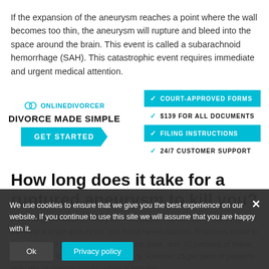If the expansion of the aneurysm reaches a point where the wall becomes too thin, the aneurysm will rupture and bleed into the space around the brain. This event is called a subarachnoid hemorrhage (SAH). This catastrophic event requires immediate and urgent medical attention.
[Figure (infographic): Online Divorcer advertisement banner with logo, tagline 'DIVORCE MADE SIMPLE', 'GET STARTED' button, and feature bullets: COURT-APPROVED FORMS, $139 FOR ALL DOCUMENTS, FILING INSTRUCTIONS, 24/7 CUSTOMER SUPPORT]
How long does it take for a ruptured aneurysm to kill you?
According the Brain Aneurysm Foundation, about one in 50 people develop a brain aneurysm, but most never rupture. Ruptures occur in about 30,000 people in the U.S. each year, and 40 percent of these cases result in death within 24 hours. Another 25 percent of patients may die of complications within 6 months.
We use cookies to ensure that we give you the best experience on our website. If you continue to use this site we will assume that you are happy with it.